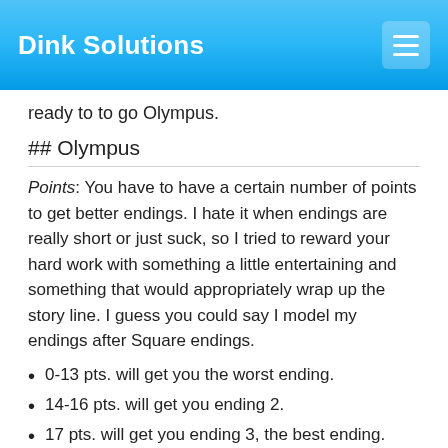Dink Solutions
ready to to go Olympus.
## Olympus
Points: You have to have a certain number of points to get better endings. I hate it when endings are really short or just suck, so I tried to reward your hard work with something a little entertaining and something that would appropriately wrap up the story line. I guess you could say I model my endings after Square endings.
0-13 pts. will get you the worst ending.
14-16 pts. will get you ending 2.
17 pts. will get you ending 3, the best ending.
Delta V [killing the goblins and finding the real people] 1 point